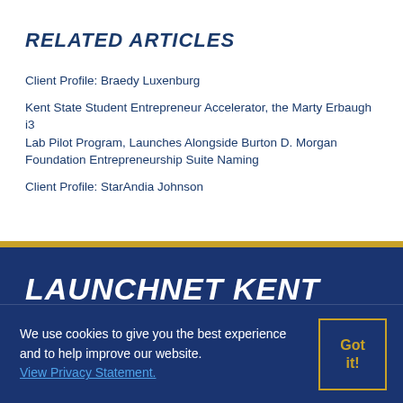RELATED ARTICLES
Client Profile: Braedy Luxenburg
Kent State Student Entrepreneur Accelerator, the Marty Erbaugh i3 Lab Pilot Program, Launches Alongside Burton D. Morgan Foundation Entrepreneurship Suite Naming
Client Profile: StarAndia Johnson
LAUNCHNET KENT STATE
University Libraries ...
We use cookies to give you the best experience and to help improve our website. View Privacy Statement.